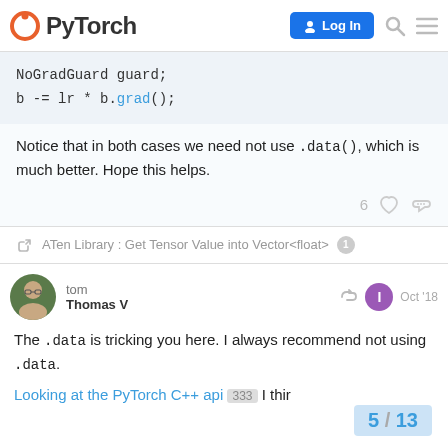PyTorch - Log In
NoGradGuard guard;
b -= lr * b.grad();
Notice that in both cases we need not use .data(), which is much better. Hope this helps.
6 ♡ 🔗
🔗 ATen Library : Get Tensor Value into Vector<float> 1
tom
Thomas V
Oct '18
The .data is tricking you here. I always recommend not using .data.
Looking at the PyTorch C++ api 333 I thir
5 / 13